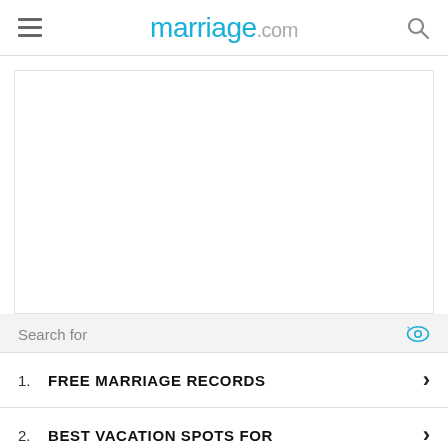marriage.com
[Figure (screenshot): White empty content area box]
Search for
1. FREE MARRIAGE RECORDS
2. BEST VACATION SPOTS FOR